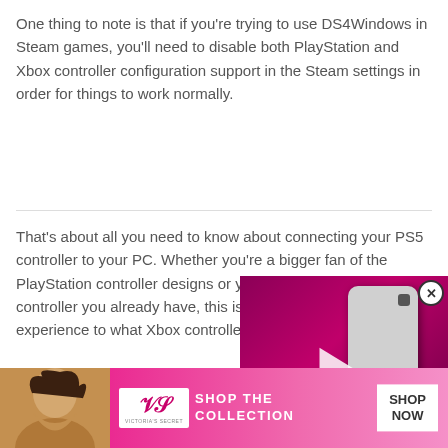One thing to note is that if you're trying to use DS4Windows in Steam games, you'll need to disable both PlayStation and Xbox controller configuration support in the Steam settings in order for things to work normally.
That's about all you need to know about connecting your PS5 controller to your PC. Whether you're a bigger fan of the PlayStation controller designs or you simply want to use a controller you already have, this is a great way to get a similar experience to what Xbox controllers usually offer on Windows.
[Figure (screenshot): Video player overlay showing a phone against a pink/magenta background with play button, progress bar, and media controls. A close button (X in circle) is in the top right corner.]
[Figure (photo): Victoria's Secret advertisement banner with a woman's photo on the left, VS logo, 'SHOP THE COLLECTION' text in white, and a 'SHOP NOW' button in white on the right.]